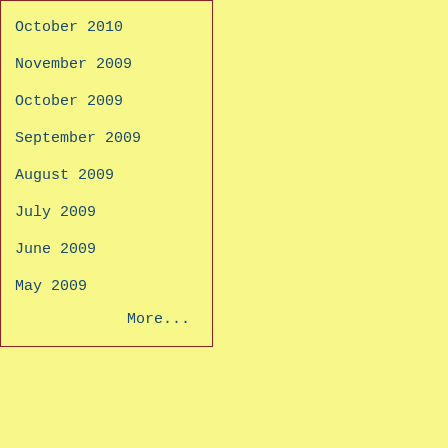October 2010
November 2009
October 2009
September 2009
August 2009
July 2009
June 2009
May 2009
More...